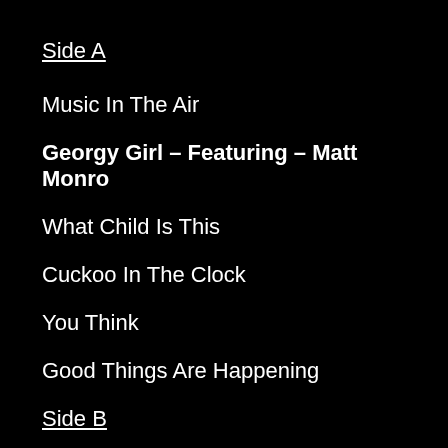Side A
Music In The Air
Georgy Girl – Featuring – Matt Monro
What Child Is This
Cuckoo In The Clock
You Think
Good Things Are Happening
Side B
Yesterday's Heroes